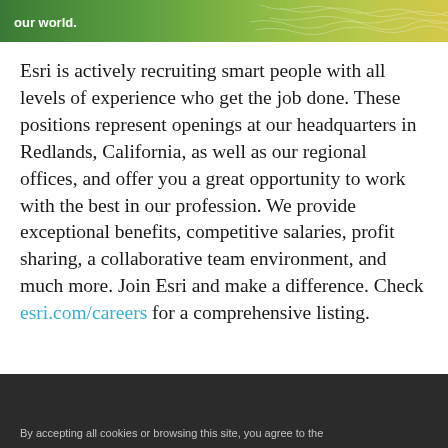[Figure (illustration): Green banner/header image with map background showing geographic features, with white text reading 'our world.']
Esri is actively recruiting smart people with all levels of experience who get the job done. These positions represent openings at our headquarters in Redlands, California, as well as our regional offices, and offer you a great opportunity to work with the best in our profession. We provide exceptional benefits, competitive salaries, profit sharing, a collaborative team environment, and much more. Join Esri and make a difference. Check esri.com/careers for a comprehensive listing.
[Figure (screenshot): Dark/black footer bar with text beginning 'By accepting all cookies or browsing this site, you agree to the']